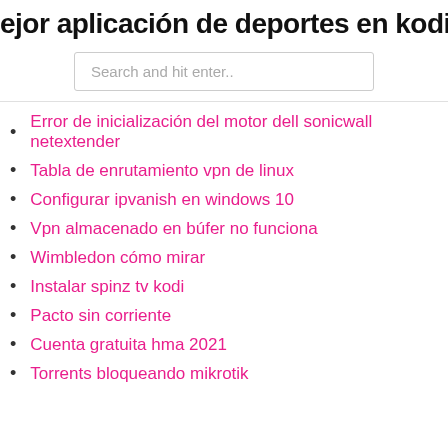ejor aplicación de deportes en kodi 2
Search and hit enter..
Error de inicialización del motor dell sonicwall netextender
Tabla de enrutamiento vpn de linux
Configurar ipvanish en windows 10
Vpn almacenado en búfer no funciona
Wimbledon cómo mirar
Instalar spinz tv kodi
Pacto sin corriente
Cuenta gratuita hma 2021
Torrents bloqueando mikrotik